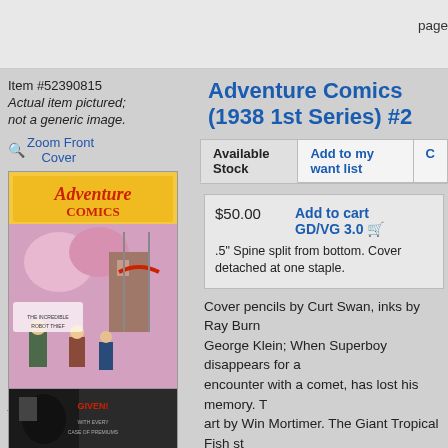pages, Full Color. Cover price $0.10.
Adventure Comics (1938 1st Series) #2
Item #52390815
Actual item pictured; not a generic image.
🔍 Zoom Front Cover
[Figure (photo): Cover of Adventure Comics showing colorful comic book art with the Adventure Comics logo at top]
Actual item pictured; not a generic image.
🔍 Zoom Back Cover
[Figure (photo): Partial thumbnail of back cover showing dark image]
| $50.00 | Add to cart | GD/VG 3.0 🛒 |
| .5" Spine split from bottom. Cover detached at one staple. |  |  |
Cover pencils by Curt Swan, inks by Ray Burn... George Klein; When Superboy disappears for ... encounter with a comet, has lost his memory. T... art by Win Mortimer. The Giant Tropical Fish st... Boltinoff. The Three Impossible Targets starring... pages, Full Color. Cover price $0.10.